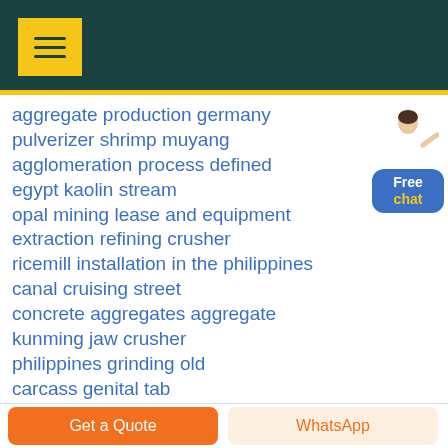Navigation menu header bar
aggregate production germany
pulverizer shrimp muyang
agglomeration process defined
egypt kaolin stream
opal mining lease and equipment
extraction refining crusher
ricemill installation in the philippines
canal cruising street
concrete aggregates aggregate
kunming jaw crusher
philippines grinding old
carcass genital tab
mini jaw showroom
hot sinter sizing
used limestone grinders in united states
Get a Quote | WhatsApp